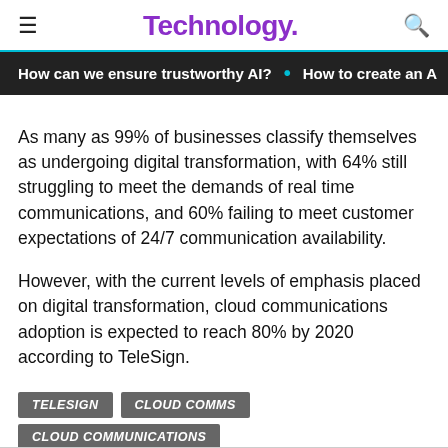Technology.
How can we ensure trustworthy AI? · How to create an A
As many as 99% of businesses classify themselves as undergoing digital transformation, with 64% still struggling to meet the demands of real time communications, and 60% failing to meet customer expectations of 24/7 communication availability.
However, with the current levels of emphasis placed on digital transformation, cloud communications adoption is expected to reach 80% by 2020 according to TeleSign.
TELESIGN
CLOUD COMMS
CLOUD COMMUNICATIONS
DIGITAL TRANSFORMATION